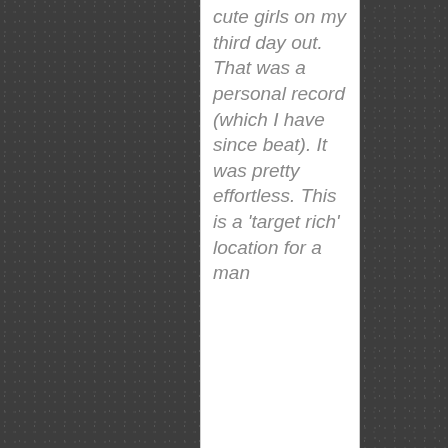cute girls on my third day out. That was a personal record (which I have since beat). It was pretty effortless. This is a 'target rich' location for a man